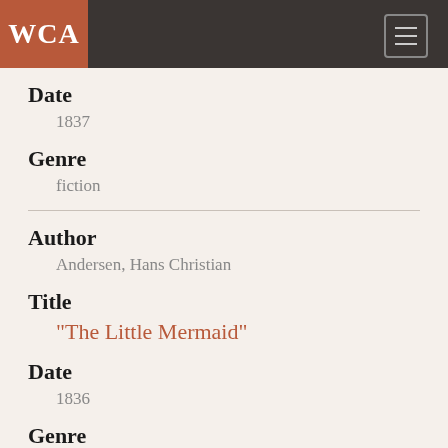WCA
Date
1837
Genre
fiction
Author
Andersen, Hans Christian
Title
"The Little Mermaid"
Date
1836
Genre
fiction
Author